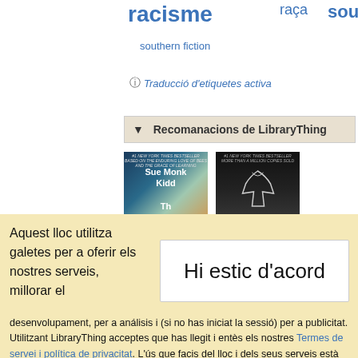racisme
raça
sout
southern fiction
ⓘ Traducció d'etiquetes activa
▼ Recomanacions de LibraryThing
[Figure (photo): Book cover: Sue Monk Kidd]
[Figure (photo): Book cover: dark cover with dress illustration]
Aquest lloc utilitza galetes per a oferir els nostres serveis, millorar el
Hi estic d'acord
desenvolupament, per a análisis i (si no has iniciat la sessió) per a publicitat. Utilitzant LibraryThing acceptes que has llegit i entès els nostres Termes de servei i política de privacitat. L'ús que facis del lloc i dels seus serveis està subjecte a aquestes polítiques i termes.